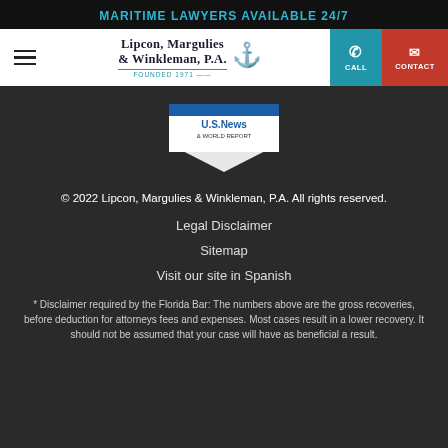MARITIME LAWYERS AVAILABLE 24/7
[Figure (logo): Lipcon, Margulies & Winkleman, P.A. Founded 1971 law firm logo with anchor icon]
[Figure (logo): U.S. News & World Report badge 2016-2022]
© 2022 Lipcon, Margulies & Winkleman, P.A. All rights reserved.
Legal Disclaimer
Sitemap
Visit our site in Spanish
* Disclaimer required by the Florida Bar: The numbers above are the gross recoveries, before deduction for attorneys fees and expenses. Most cases result in a lower recovery. It should not be assumed that your case will have as beneficial a result.